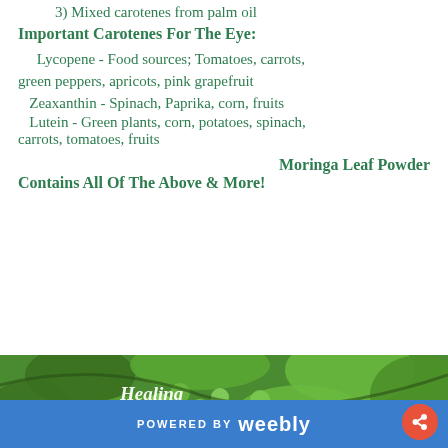3) Mixed carotenes from palm oil
Important Carotenes For The Eye:
Lycopene - Food sources; Tomatoes, carrots, green peppers, apricots, pink grapefruit
Zeaxanthin - Spinach, Paprika, corn, fruits
Lutein - Green plants, corn, potatoes, spinach, carrots, tomatoes, fruits
Moringa Leaf Powder Contains All Of The Above & More!
[Figure (photo): Green moringa leaves photo with 'Healing Moringa T...' text overlay]
POWERED BY weebly